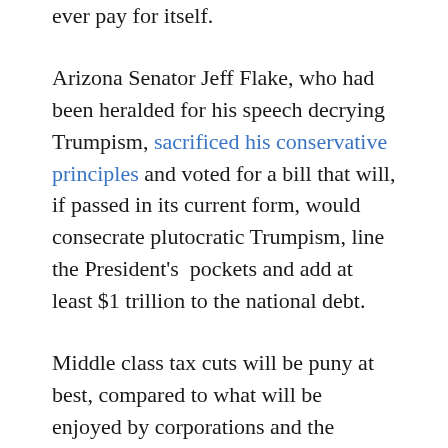ever pay for itself.
Arizona Senator Jeff Flake, who had been heralded for his speech decrying Trumpism, sacrificed his conservative principles and voted for a bill that will, if passed in its current form, would consecrate plutocratic Trumpism, line the President's pockets and add at least $1 trillion to the national debt.
Middle class tax cuts will be puny at best, compared to what will be enjoyed by corporations and the wealthy. And individual cuts expire in 2025, while the corporate cuts will be permanent. And, make no mistake about it, should the Republicans retain control, they will move in the out years to reduce the deficit by cutting the social